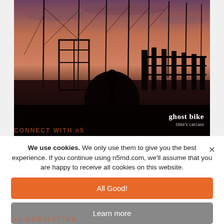[Figure (photo): Dusk/sunset photograph of sailboat masts and marina structures silhouetted against an orange-pink sky. Watermark text reads 'ghost bike / time's carcass' in bottom right corner.]
We use cookies. We only use them to give you the best experience. If you continue using n5md.com, we'll assume that you are happy to receive all cookies on this website.
CONNECT WITH n5
All Good!
Learn more
n5 NEWSLETTER